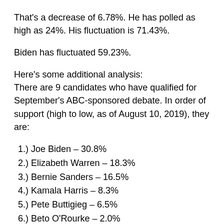That's a decrease of 6.78%. He has polled as high as 24%. His fluctuation is 71.43%.
Biden has fluctuated 59.23%.
Here's some additional analysis:
There are 9 candidates who have qualified for September's ABC-sponsored debate. In order of support (high to low, as of August 10, 2019), they are:
1.) Joe Biden – 30.8%
2.) Elizabeth Warren – 18.3%
3.) Bernie Sanders – 16.5%
4.) Kamala Harris – 8.3%
5.) Pete Buttigieg – 6.5%
6.) Beto O'Rourke – 2.0%
7.) Corey Booker – 2.0%
8.) Tulsi Gabbard – 1.3%